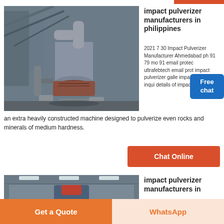[Figure (photo): Industrial impact pulverizer machine with pipes and metal structure in a factory setting]
impact pulverizer manufacturers in philippines
2021 7 30 Impact Pulverizer Manufacturer Ahmedabad ph 91 79 mo 91 email protect ultrafebtech email prot impact pulverizer galle impact pulverizer inqui details of impact pulverizer an extra heavily constructed machine designed to pulverize even rocks and minerals of medium hardness.
[Figure (other): Free chat widget with a customer service representative icon]
Chat Online
[Figure (photo): Industrial factory interior with machinery and metal structures]
impact pulverizer manufacturers in
Get a Quote
WhatsApp